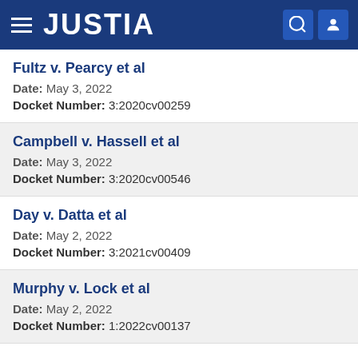JUSTIA
Fultz v. Pearcy et al
Date: May 3, 2022
Docket Number: 3:2020cv00259
Campbell v. Hassell et al
Date: May 3, 2022
Docket Number: 3:2020cv00546
Day v. Datta et al
Date: May 2, 2022
Docket Number: 3:2021cv00409
Murphy v. Lock et al
Date: May 2, 2022
Docket Number: 1:2022cv00137